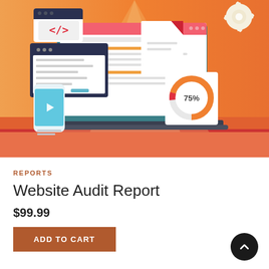[Figure (illustration): Hero illustration showing website audit concept: laptop with browser window displaying a dashboard with a donut chart showing 75%, code editor window with </> symbol, browser window, tablet, and smartphone, all on orange gradient background with red horizontal divider]
REPORTS
Website Audit Report
$99.99
ADD TO CART